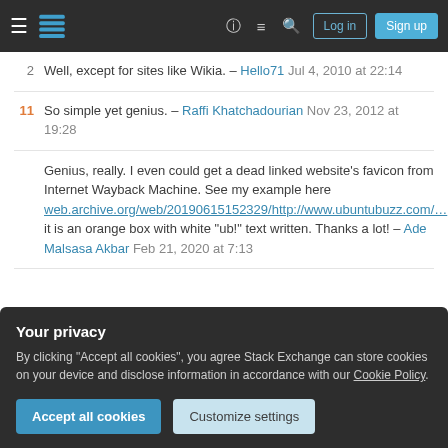Stack Exchange navigation bar with hamburger, logo, help, chat, search, Log in, Sign up
2  Well, except for sites like Wikia. – Hello71 Jul 4, 2010 at 22:14
11  So simple yet genius. – Raffi Khatchadourian Nov 23, 2012 at 19:28
Genius, really. I even could get a dead linked website's favicon from Internet Wayback Machine. See my example here web.archive.org/web/20190615152329/http://www.ubuntubuzz.com/..., it is an orange box with white "ub!" text written. Thanks a lot! – Ade Malsasa Akbar Feb 21, 2020 at 7:13
Your privacy
By clicking "Accept all cookies", you agree Stack Exchange can store cookies on your device and disclose information in accordance with our Cookie Policy.
Accept all cookies  Customize settings
The following format is cross-browser